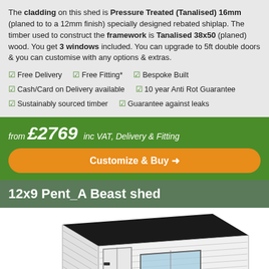The cladding on this shed is Pressure Treated (Tanalised) 16mm (planed to to a 12mm finish) specially designed rebated shiplap. The timber used to construct the framework is Tanalised 38x50 (planed) wood. You get 3 windows included. You can upgrade to 5ft double doors & you can customise with any options & extras.
✔ Free Delivery   ✔ Free Fitting*   ✔ Bespoke Built
✔ Cash/Card on Delivery available   ✔ 10 year Anti Rot Guarantee
✔ Sustainably sourced timber   ✔ Guarantee against leaks
from £2769 inc VAT, Delivery & Fitting
Customize & Buy ❯
12x9 Pent_A Beast shed
[Figure (illustration): 3D illustration of a white pent-roof shed (12x9 Pent_A Beast) with horizontal shiplap cladding, a dark felt roof, a door on the left side with black hinges, and a window on the front face.]